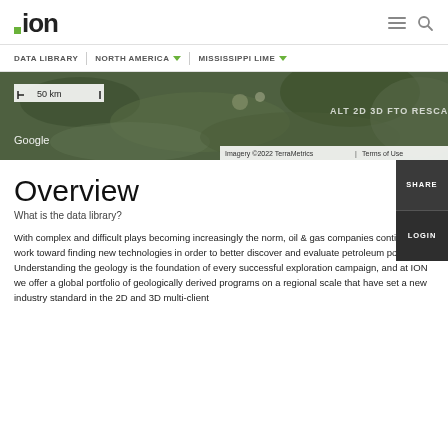ion
DATA LIBRARY | NORTH AMERICA ▾ | MISSISSIPPI LIME ▾
[Figure (map): Satellite/aerial map view with scale bar showing 50 km, Google logo, and imagery attribution: Imagery ©2022 TerraMetrics | Terms of Use. Map overlay labels visible: ALT 2D 3D FTO RESCAN]
Overview
What is the data library?
With complex and difficult plays becoming increasingly the norm, oil & gas companies continue to work toward finding new technologies in order to better discover and evaluate petroleum potential. Understanding the geology is the foundation of every successful exploration campaign, and at ION we offer a global portfolio of geologically derived programs on a regional scale that have set a new industry standard in the 2D and 3D multi-client